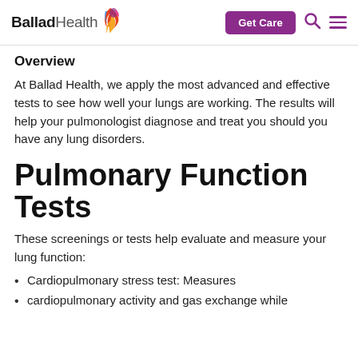Ballad Health | Get Care | Search | Menu
Overview
At Ballad Health, we apply the most advanced and effective tests to see how well your lungs are working. The results will help your pulmonologist diagnose and treat you should you have any lung disorders.
Pulmonary Function Tests
These screenings or tests help evaluate and measure your lung function:
Cardiopulmonary stress test: Measures
cardiopulmonary activity and gas exchange while